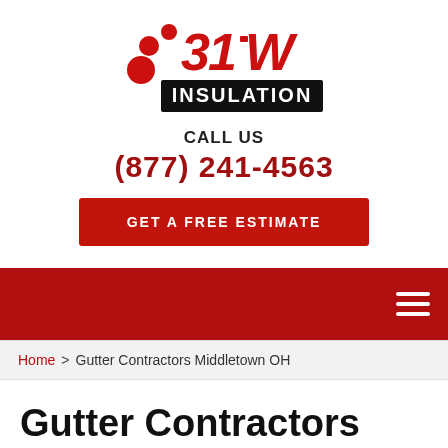[Figure (logo): 31-W Insulation company logo with red dots and bold red/black text on white background]
CALL US
(877) 241-4563
GET A FREE ESTIMATE
Navigation bar with hamburger menu
Home > Gutter Contractors Middletown OH
Gutter Contractors Middletown OH